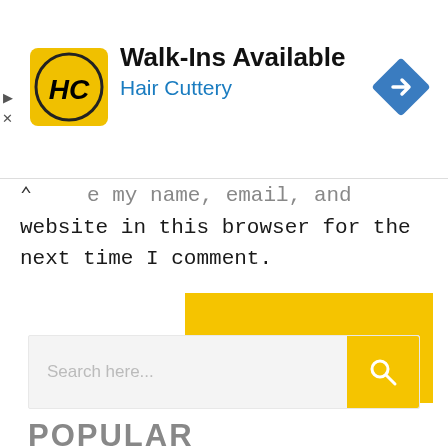[Figure (screenshot): Advertisement banner for Hair Cuttery: yellow square logo with HC monogram on left, text 'Walk-Ins Available' in bold and 'Hair Cuttery' in blue below, blue diamond navigation arrow icon on right. Small play and X icons on far left edge.]
e my name, email, and website in this browser for the next time I comment.
[Figure (screenshot): POST COMMENT button — large yellow/gold rectangle with bold black uppercase text 'POST COMMENT']
[Figure (screenshot): Search bar with placeholder text 'Search here...' and yellow search button with magnifying glass icon on right]
POPULAR